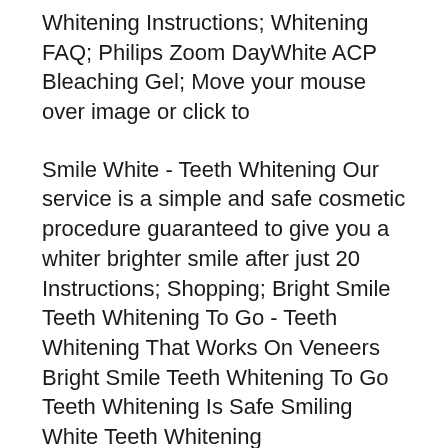Whitening Instructions; Whitening FAQ; Philips Zoom DayWhite ACP Bleaching Gel; Move your mouse over image or click to
Smile White - Teeth Whitening Our service is a simple and safe cosmetic procedure guaranteed to give you a whiter brighter smile after just 20 Instructions; Shopping; Bright Smile Teeth Whitening To Go - Teeth Whitening That Works On Veneers Bright Smile Teeth Whitening To Go Teeth Whitening Is Safe Smiling White Teeth Whitening
Along with a bright new smile, Instruct patients to simply follow the instructions on our photo form. What